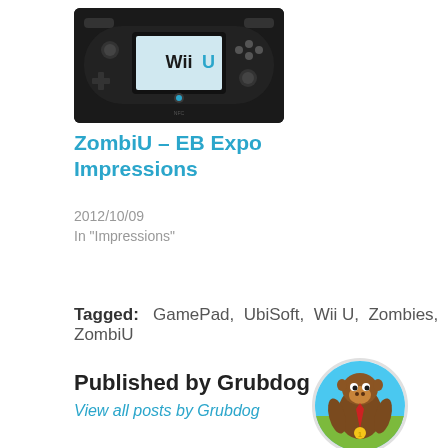[Figure (photo): Wii U GamePad controller with 'Wii U' text on screen, black device on dark background]
ZombiU – EB Expo Impressions
2012/10/09
In "Impressions"
Tagged:   GamePad,  UbiSoft,  Wii U,  Zombies,  ZombiU
Published by Grubdog
View all posts by Grubdog
[Figure (photo): Circular avatar image showing Donkey Kong character from a video game with colorful background]